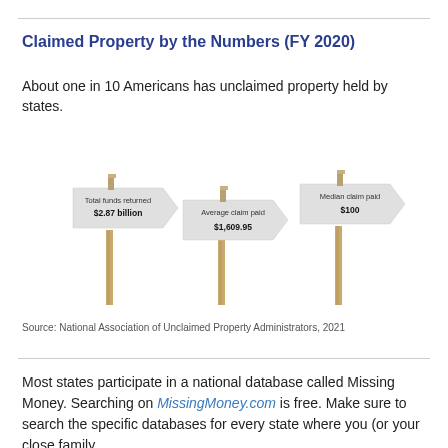Claimed Property by the Numbers (FY 2020)
About one in 10 Americans has unclaimed property held by states.
[Figure (infographic): Three road-sign style signs on wooden posts showing statistics: (1) Total funds returned $2.87 billion, (2) Average claim paid $1,609.95, (3) Median claim paid $100]
Source: National Association of Unclaimed Property Administrators, 2021
Most states participate in a national database called Missing Money. Searching on MissingMoney.com is free. Make sure to search the specific databases for every state where you (or your close family